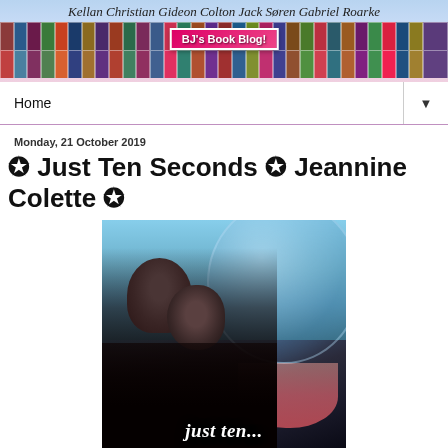Kellan Christian Gideon Colton Jack Søren Gabriel Roarke
[Figure (screenshot): BJ's Book Blog banner with colorful mosaic of book covers and blog name overlay in pink/red text]
Home ▼
Monday, 21 October 2019
✪ Just Ten Seconds ✪ Jeannine Colette ✪
[Figure (photo): Book cover for 'Just Ten Seconds' by Jeannine Colette showing a couple kissing with a wine glass in the background]